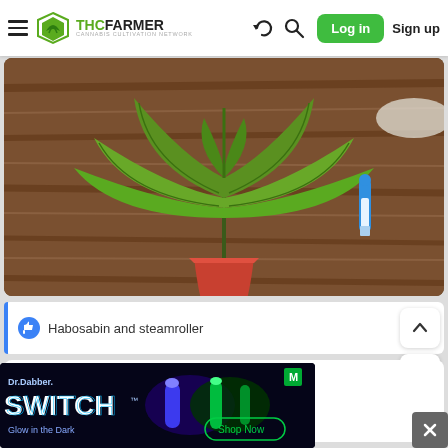THC FARMER - CANNABIS CULTIVATION NETWORK - Log in - Sign up
[Figure (photo): Top-down photo of a cannabis plant with large green serrated leaves on a wooden surface, with a blue/white marker pen visible in the upper right]
Habosabin and steamroller
Edinburgh
[Figure (photo): Dr. Dabber SWITCH Glow in the Dark advertisement banner showing glowing blue/green glass pieces on dark background with Shop Now button]